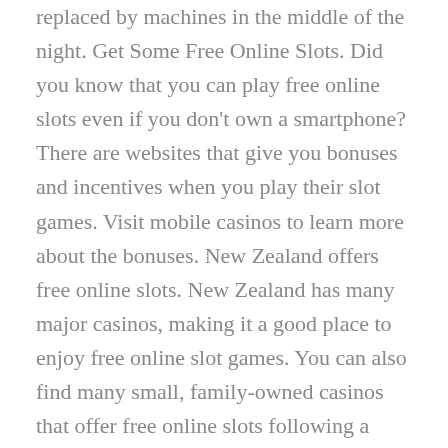replaced by machines in the middle of the night. Get Some Free Online Slots. Did you know that you can play free online slots even if you don't own a smartphone? There are websites that give you bonuses and incentives when you play their slot games. Visit mobile casinos to learn more about the bonuses. New Zealand offers free online slots. New Zealand has many major casinos, making it a good place to enjoy free online slot games. You can also find many small, family-owned casinos that offer free online slots following a number of gaming events. Play Free Slots in the USA. Online casinos that are based in America offer free online casino games. For players that play slot machines, these casinos offer incentives and bonuses. You may be eligible for special bonuses such as bonus spins or free admission to events. Slots are available for real money. Video gaming has been integrated into online casinos so you can enjoy their free slot games with real money. Online progressive slots have higher jackpots than land-based slot machines. The jackpots in progressive slots are lower than